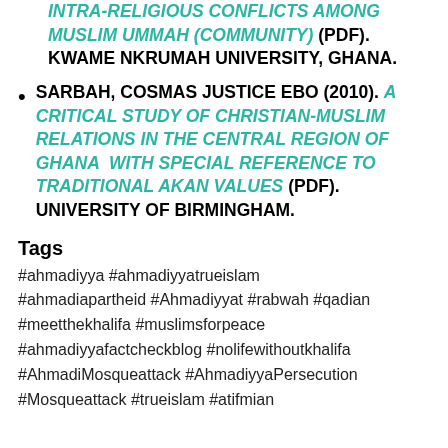AYUBA, IBRAHIM ALIDU (2011). INTRA-RELIGIOUS CONFLICTS AMONG MUSLIM UMMAH (COMMUNITY) (PDF). KWAME NKRUMAH UNIVERSITY, GHANA.
SARBAH, COSMAS JUSTICE EBO (2010). A CRITICAL STUDY OF CHRISTIAN-MUSLIM RELATIONS IN THE CENTRAL REGION OF GHANA WITH SPECIAL REFERENCE TO TRADITIONAL AKAN VALUES (PDF). UNIVERSITY OF BIRMINGHAM.
Tags
#ahmadiyya #ahmadiyyatrueislam #ahmadiapartheid #Ahmadiyyat #rabwah #qadian #meetthekhalifa #muslimsforpeace #ahmadiyyafactcheckblog #nolifewithoutkhalifa #AhmadiMosqueattack #AhmadiyyaPersecution #Mosqueattack #trueislam #atifmian